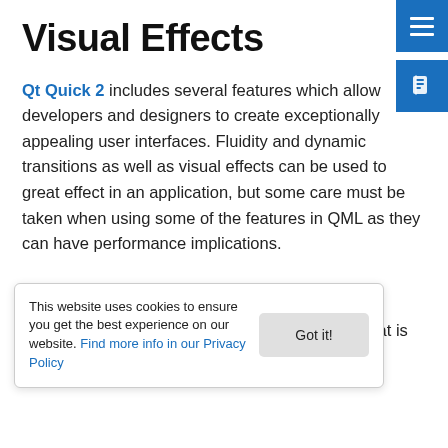Visual Effects
Qt Quick 2 includes several features which allow developers and designers to create exceptionally appealing user interfaces. Fluidity and dynamic transitions as well as visual effects can be used to great effect in an application, but some care must be taken when using some of the features in QML as they can have performance implications.
Animations
...use any bindings evaluated. Usually, this is what is desired but in other cases it may be better to
This website uses cookies to ensure you get the best experience on our website. Find more info in our Privacy Policy